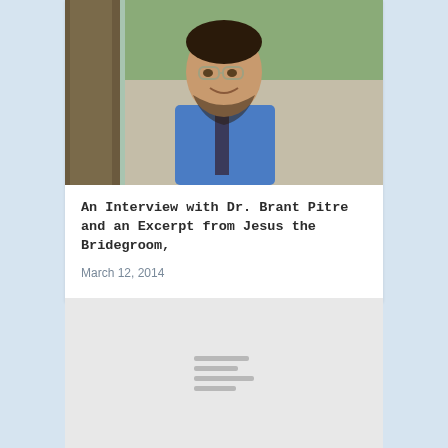[Figure (photo): Headshot photo of Dr. Brant Pitre, a man with glasses, short dark hair and beard, wearing a blue button-up shirt and dark tie, smiling, outdoors with trees in background]
An Interview with Dr. Brant Pitre and an Excerpt from Jesus the Bridegroom,
March 12, 2014
[Figure (screenshot): A grey placeholder/loading block with four short grey horizontal lines centered in the lower portion, representing a partially loaded content block]